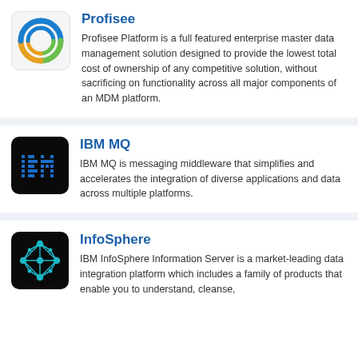[Figure (logo): Profisee logo - circular swirl with blue, green, orange colors on light background]
Profisee
Profisee Platform is a full featured enterprise master data management solution designed to provide the lowest total cost of ownership of any competitive solution, without sacrificing on functionality across all major components of an MDM platform.
[Figure (logo): IBM MQ logo - IBM text in blue dots/pixels on dark background]
IBM MQ
IBM MQ is messaging middleware that simplifies and accelerates the integration of diverse applications and data across multiple platforms.
[Figure (logo): InfoSphere logo - diamond/network shape in teal/white on dark background]
InfoSphere
IBM InfoSphere Information Server is a market-leading data integration platform which includes a family of products that enable you to understand, cleanse,